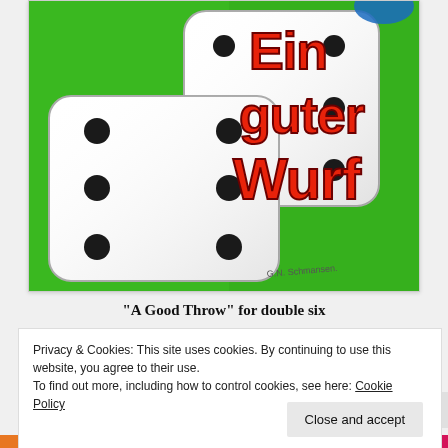[Figure (illustration): Painting of two white dice showing double six on a bright green background with red text 'Ein guter Wurf' (A Good Throw). Artist signature visible at bottom right.]
“A Good Throw” for double six
Privacy & Cookies: This site uses cookies. By continuing to use this website, you agree to their use.
To find out more, including how to control cookies, see here: Cookie Policy
Close and accept